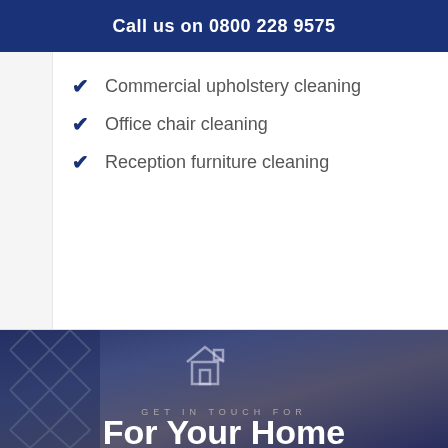Call us on 0800 228 9575
Commercial upholstery cleaning
Office chair cleaning
Reception furniture cleaning
[Figure (photo): Home interior scene with desk lamps and decorative items on shelves, overlaid with a dark blue tint. Contains a house outline icon, the text 'GET IN TOUCH FOR' in spaced caps, and large white bold text 'For Your Home' at the bottom.]